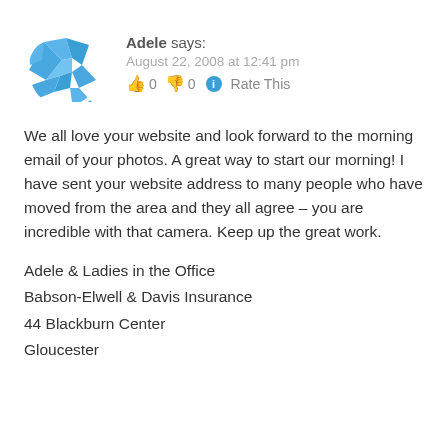[Figure (illustration): Blue geometric avatar icon made of fragmented triangular pieces forming a circular shape]
Adele says:
August 22, 2008 at 12:41 pm
👍 0 👎 0 ℹ Rate This
We all love your website and look forward to the morning email of your photos. A great way to start our morning! I have sent your website address to many people who have moved from the area and they all agree – you are incredible with that camera. Keep up the great work.
Adele & Ladies in the Office
Babson-Elwell & Davis Insurance
44 Blackburn Center
Gloucester